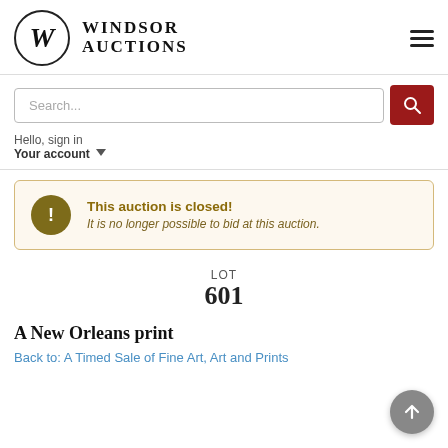[Figure (logo): Windsor Auctions logo with W in a circle and text WINDSOR AUCTIONS]
Search...
Hello, sign in
Your account
This auction is closed! It is no longer possible to bid at this auction.
LOT
601
A New Orleans print
Back to: A Timed Sale of Fine Art, Art and Prints